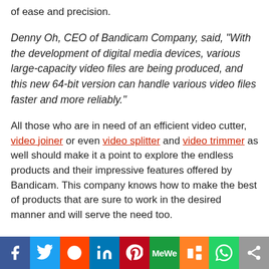of ease and precision.
Denny Oh, CEO of Bandicam Company, said, "With the development of digital media devices, various large-capacity video files are being produced, and this new 64-bit version can handle various video files faster and more reliably."
All those who are in need of an efficient video cutter, video joiner or even video splitter and video trimmer as well should make it a point to explore the endless products and their impressive features offered by Bandicam. This company knows how to make the best of products that are sure to work in the desired manner and will serve the need too.
The company has managed to make a great name for itself, and in the times to come, they are sure to grow their user base as they have been marketing
[Figure (infographic): Social media sharing bar with icons: Facebook (blue), Twitter (light blue), Reddit (orange-red), LinkedIn (dark blue), Pinterest (dark red), MeWe (green), Mix (orange), WhatsApp (green), Share (gray)]